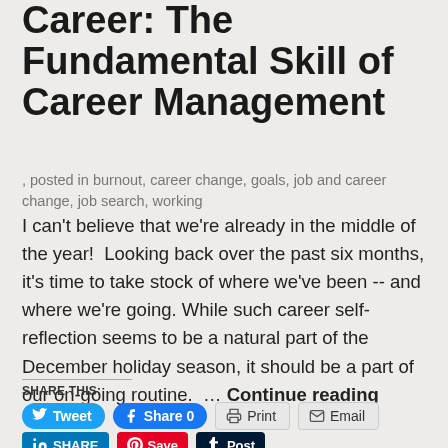Taking Control of Your Career: The Fundamental Skill of Career Management
, posted in burnout, career change, goals, job and career change, job search, working
I can't believe that we're already in the middle of the year!  Looking back over the past six months, it's time to take stock of where we've been -- and where we're going. While such career self-reflection seems to be a natural part of the December holiday season, it should be a part of our on-going routine.  … Continue reading
SHARE THIS: